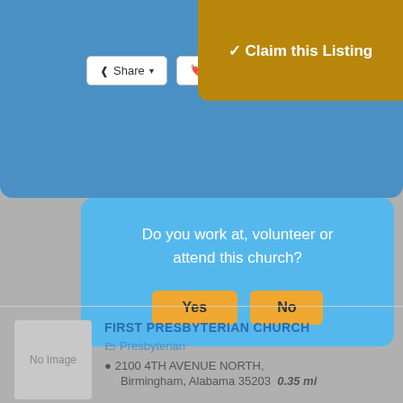[Figure (screenshot): Top blue navigation bar with Share and Bookmark buttons, and a gold/brown Claim this Listing button in the top-right corner]
Do you work at, volunteer or attend this church?
Yes
No
FIRST PRESBYTERIAN CHURCH
Presbyterian
2100 4TH AVENUE NORTH, Birmingham, Alabama 35203  0.35 mi